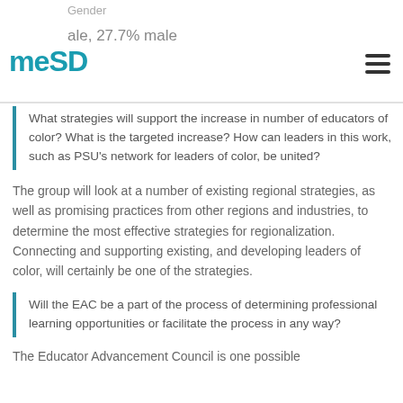Gender | ale, 27.7% male
What strategies will support the increase in number of educators of color? What is the targeted increase? How can leaders in this work, such as PSU’s network for leaders of color, be united?
The group will look at a number of existing regional strategies, as well as promising practices from other regions and industries, to determine the most effective strategies for regionalization. Connecting and supporting existing, and developing leaders of color, will certainly be one of the strategies.
Will the EAC be a part of the process of determining professional learning opportunities or facilitate the process in any way?
The Educator Advancement Council is one possible